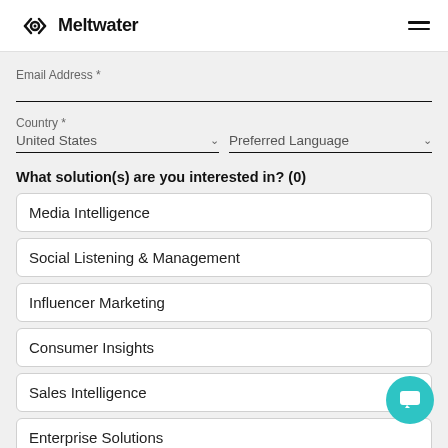Meltwater
Email Address *
Country *
United States
Preferred Language
What solution(s) are you interested in? (0)
Media Intelligence
Social Listening & Management
Influencer Marketing
Consumer Insights
Sales Intelligence
Enterprise Solutions